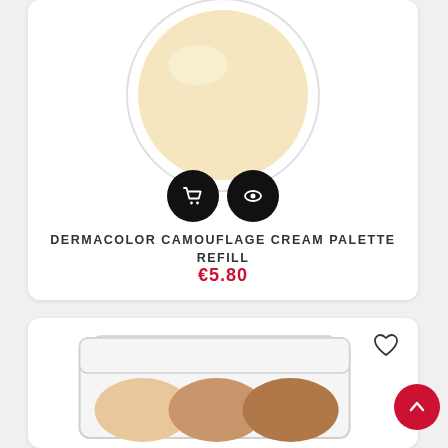[Figure (photo): Circular compact of Dermacolor Camouflage Cream Palette Refill, showing a pale beige cream pan in a white circular container, partially cropped at top]
[Figure (illustration): Two black circular icon buttons: a shopping cart icon and an eye/view icon]
DERMACOLOR CAMOUFLAGE CREAM PALETTE REFILL
€5.80
[Figure (photo): Dermacolor Camouflage Cream Palette showing three pans of foundation cream in beige, medium, and tan shades inside a white compact case, partially visible at bottom of page]
[Figure (illustration): Heart (wishlist) icon outline in top right of bottom card]
[Figure (illustration): Red circular scroll-to-top button with upward chevron arrow]